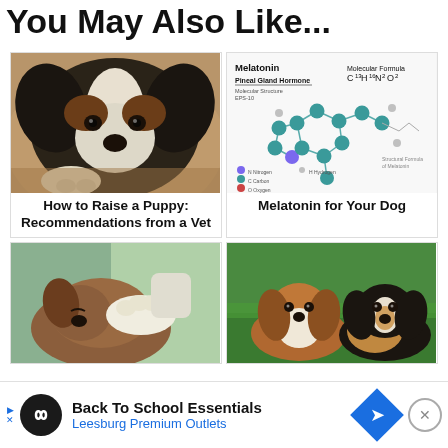You May Also Like...
[Figure (photo): Sleeping black and white puppy close-up]
How to Raise a Puppy: Recommendations from a Vet
[Figure (illustration): Melatonin molecular structure diagram with chemical formula C13H16N2O2 and legend showing N, C, O, H atoms]
Melatonin for Your Dog
[Figure (photo): Veterinarian in gloves examining a dog]
[Figure (photo): Two Cavalier King Charles Spaniel dogs sitting on grass]
Back To School Essentials Leesburg Premium Outlets